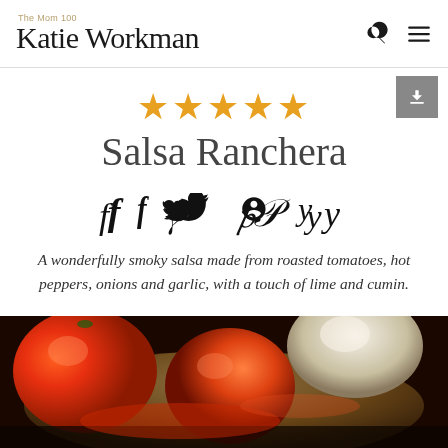The Mom 100 | Katie Workman
Salsa Ranchera
★★★★★
Social share icons: Facebook, Twitter, Pinterest, Yummly
A wonderfully smoky salsa made from roasted tomatoes, hot peppers, onions and garlic, with a touch of lime and cumin.
[Figure (photo): Close-up photo of roasted tomatoes, peppers and garlic in a bowl, ingredients for Salsa Ranchera]